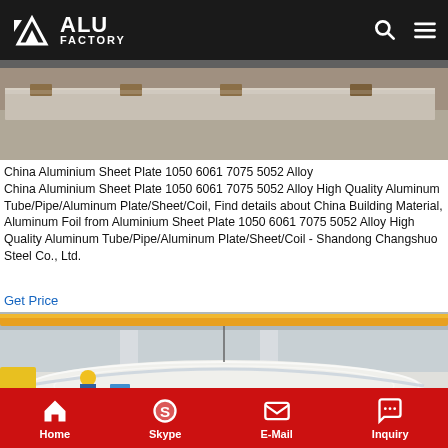ALU FACTORY
[Figure (photo): Top photo showing aluminium sheets/plates on warehouse floor with wooden blocks, grey industrial setting]
China Aluminium Sheet Plate 1050 6061 7075 5052 Alloy
China Aluminium Sheet Plate 1050 6061 7075 5052 Alloy High Quality Aluminum Tube/Pipe/Aluminum Plate/Sheet/Coil, Find details about China Building Material, Aluminum Foil from Aluminium Sheet Plate 1050 6061 7075 5052 Alloy High Quality Aluminum Tube/Pipe/Aluminum Plate/Sheet/Coil - Shandong Changshuo Steel Co., Ltd.
Get Price
[Figure (photo): Interior of aluminium factory warehouse showing large aluminium coil wrapped in plastic film, cranes visible above, worker in yellow hard hat]
Home  Skype  E-Mail  Inquiry